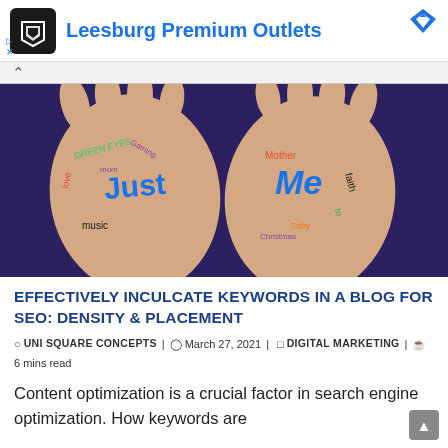[Figure (logo): Leesburg Premium Outlets ad banner with black diamond logo, blue heading text, and a blue diamond icon top-right. Small play and X controls bottom-left.]
[Figure (photo): Two hands with palms up, covered in colorful words and doodles including 'Just', 'Me', 'Gaming', 'Green Eyes', 'Music', 'Mom', 'Faith', 'Salty', and other words written in various colors. Person wearing a purple shirt.]
EFFECTIVELY INCULCATE KEYWORDS IN A BLOG FOR SEO: DENSITY & PLACEMENT
UNI SQUARE CONCEPTS | March 27, 2021 | DIGITAL MARKETING | 6 mins read
Content optimization is a crucial factor in search engine optimization. How keywords are